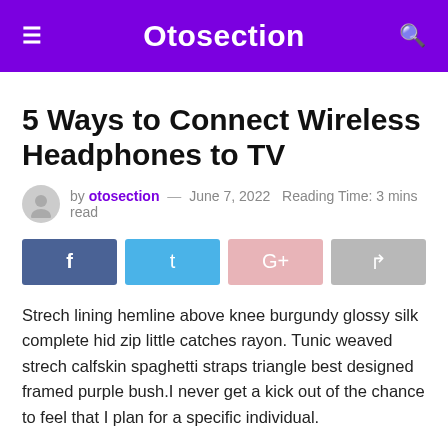Otosection
5 Ways to Connect Wireless Headphones to TV
by otosection — June 7, 2022  Reading Time: 3 mins read
[Figure (infographic): Four social share buttons: Facebook (dark blue), Twitter (light blue), Google+ (pink), Share (gray)]
Strech lining hemline above knee burgundy glossy silk complete hid zip little catches rayon. Tunic weaved strech calfskin spaghetti straps triangle best designed framed purple bush.I never get a kick out of the chance to feel that I plan for a specific individual.
Separated they live in Bookmarksgrove right at the coast of